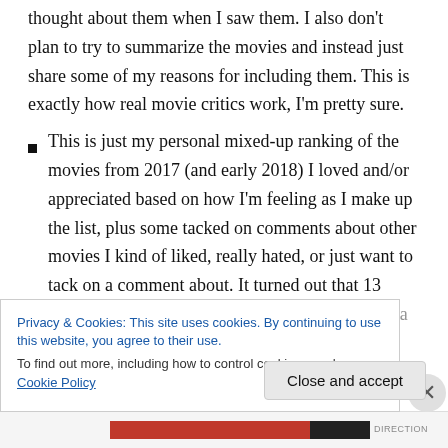thought about them when I saw them. I also don't plan to try to summarize the movies and instead just share some of my reasons for including them. This is exactly how real movie critics work, I'm pretty sure.
This is just my personal mixed-up ranking of the movies from 2017 (and early 2018) I loved and/or appreciated based on how I'm feeling as I make up the list, plus some tacked on comments about other movies I kind of liked, really hated, or just want to tack on a comment about. It turned out that 13 movies stood out above the others for me, so it's a top 13 list
Privacy & Cookies: This site uses cookies. By continuing to use this website, you agree to their use.
To find out more, including how to control cookies, see here: Cookie Policy
Close and accept